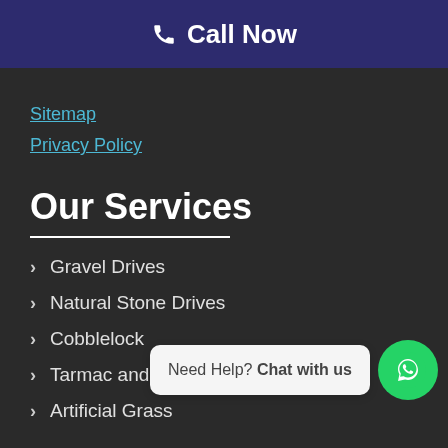Call Now
Sitemap
Privacy Policy
Our Services
Gravel Drives
Natural Stone Drives
Cobblelock
Tarmac and Asphalt
Artificial Grass
Need Help? Chat with us